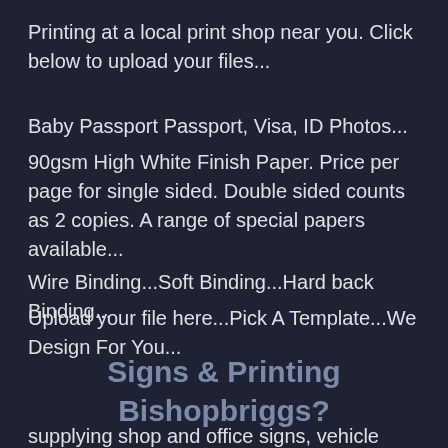Printing at a local print shop near you. Click below to upload your files...
Baby Passport Passport, Visa, ID Photos...
90gsm High White Finish Paper. Price per page for single sided. Double sided counts as 2 copies. A range of special papers available...
Wire Binding...Soft Binding...Hard back Binding...
Upload your file here...Pick A Template...We Design For You...
Signs & Printing Bishopbriggs?
supplying shop and office signs, vehicle graphics, office